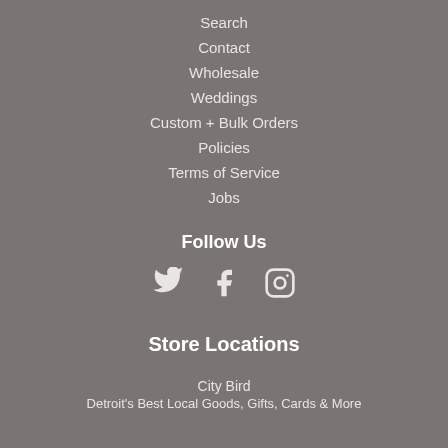Search
Contact
Wholesale
Weddings
Custom + Bulk Orders
Policies
Terms of Service
Jobs
Follow Us
[Figure (infographic): Social media icons: Twitter bird, Facebook f, Instagram camera outline]
Store Locations
City Bird
Detroit's Best Local Goods, Gifts, Cards & More